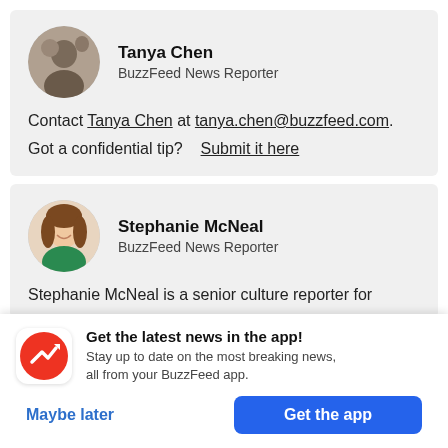[Figure (photo): Profile photo of Tanya Chen holding a cat, circular crop]
Tanya Chen
BuzzFeed News Reporter
Contact Tanya Chen at tanya.chen@buzzfeed.com.
Got a confidential tip?    Submit it here
[Figure (photo): Profile photo of Stephanie McNeal smiling, circular crop]
Stephanie McNeal
BuzzFeed News Reporter
Stephanie McNeal is a senior culture reporter for
[Figure (logo): BuzzFeed app icon: red circle with white trending arrow]
Get the latest news in the app!
Stay up to date on the most breaking news, all from your BuzzFeed app.
Maybe later
Get the app